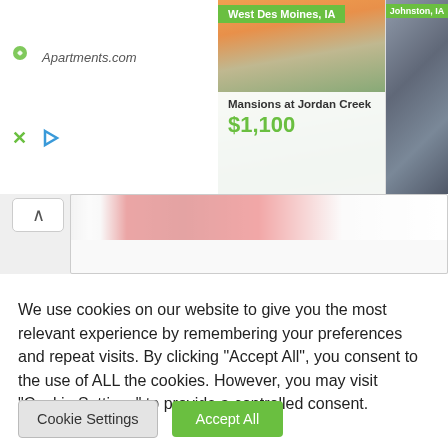[Figure (screenshot): Apartments.com advertisement banner showing West Des Moines IA aerial photo, Mansions at Jordan Creek property for $1,100, and a Johnston IA property photo on the right.]
[Figure (screenshot): Partial webpage content with a collapse arrow button and a partially visible red banner/logo strip.]
We use cookies on our website to give you the most relevant experience by remembering your preferences and repeat visits. By clicking "Accept All", you consent to the use of ALL the cookies. However, you may visit "Cookie Settings" to provide a controlled consent.
Cookie Settings
Accept All